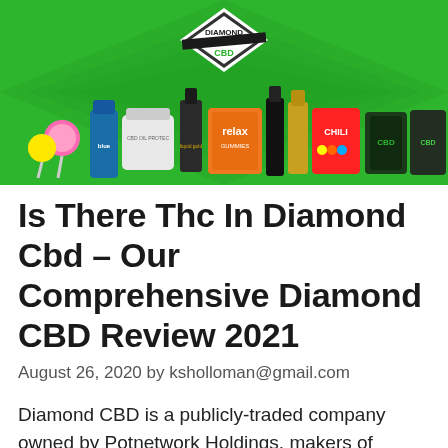[Figure (photo): Diamond CBD product banner showing various CBD products including tinctures, gummies, creams, and lollipops arranged on a green diamond-patterned background with the Diamond CBD logo at the top.]
Is There Thc In Diamond Cbd – Our Comprehensive Diamond CBD Review 2021
August 26, 2020 by ksholloman@gmail.com
Diamond CBD is a publicly-traded company owned by Potnetwork Holdings, makers of